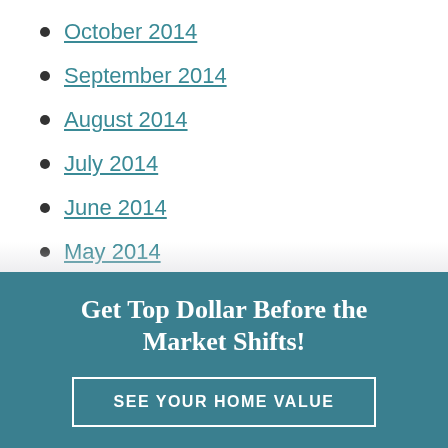October 2014
September 2014
August 2014
July 2014
June 2014
May 2014
April 2014
March 2014
Get Top Dollar Before the Market Shifts!
SEE YOUR HOME VALUE